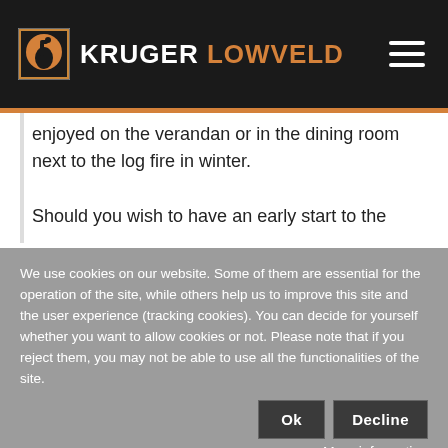KRUGER LOWVELD
enjoyed on the verandan or in the dining room next to the log fire in winter.

Should you wish to have an early start to the
We use cookies on our website. Some of them are essential for the operation of the site, while others help us to improve this site and the user experience (tracking cookies). You can decide for yourself whether you want to allow cookies or not. Please note that if you reject them, you may not be able to use all the functionalities of the site.
Ok
Decline
More information